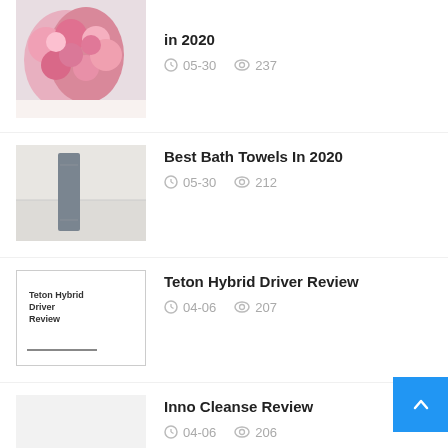[Figure (photo): Pink roses in a vase near a window]
in 2020
05-30   237
[Figure (photo): Gray bath towel hanging on a wall bar]
Best Bath Towels In 2020
05-30   212
[Figure (photo): Teton Hybrid Driver Review book cover]
Teton Hybrid Driver Review
04-06   207
[Figure (photo): Inno Cleanse Review placeholder image]
Inno Cleanse Review
04-06   206
[Figure (photo): Best High Pressure Washers placeholder image]
Best High Pressure Washers In 202…